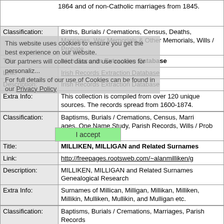1864 and of non-Catholic marriages from 1845.
| Field | Value |
| --- | --- |
| Classification: | Births, Burials / Cremations, Census, Deaths, Marriages, War Memorials & Other Memorials, Wills / Probate |
| Title: | Irish Records Extraction Database |
| Link: | Irish Records Extraction Database |
| Description: | Irish Records Extraction Database |
| Extra Info: | This collection is compiled from over 120 unique sources. The records spread from 1600-1874. |
| Field | Value |
| --- | --- |
| Classification: | Baptisms, Burials / Cremations, Census, Marriages, One Name Study, Parish Records, Wills / Probate |
| Title: | MILLIKEN, MILLIGAN and Related Surnames |
| Link: | http://freepages.rootsweb.com/~alanmilliken/g |
| Description: | MILLIKEN, MILLIGAN and Related Surnames Genealogical Research |
| Extra Info: | Surnames of Millican, Milligan, Millikan, Millike, Millikin, Mulliken, Mullikin, and Mulligan etc. |
| Field | Value |
| --- | --- |
| Classification: | Baptisms, Burials / Cremations, Marriages, Parish Records |
| Title: | Parish Registers of Ireland - from the |
This website uses cookies to ensure you get the best experience on our website. Our partners will collect data and use cookies for personaliz... For full details of our use of Cookies can be found in our Privacy Policy
I accept